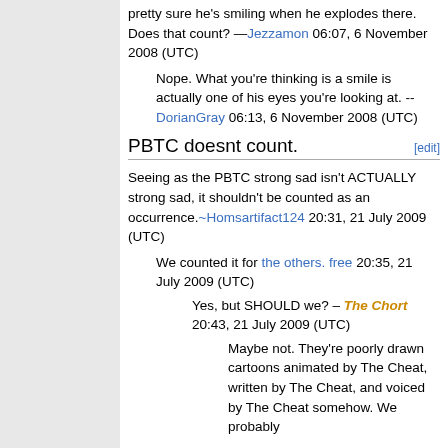pretty sure he's smiling when he explodes there. Does that count? —Jezzamon 06:07, 6 November 2008 (UTC)
Nope. What you're thinking is a smile is actually one of his eyes you're looking at. --DorianGray 06:13, 6 November 2008 (UTC)
PBTC doesnt count.
Seeing as the PBTC strong sad isn't ACTUALLY strong sad, it shouldn't be counted as an occurrence.~Homsartifact124 20:31, 21 July 2009 (UTC)
We counted it for the others. free 20:35, 21 July 2009 (UTC)
Yes, but SHOULD we? – The Chort 20:43, 21 July 2009 (UTC)
Maybe not. They're poorly drawn cartoons animated by The Cheat, written by The Cheat, and voiced by The Cheat somehow. We probably